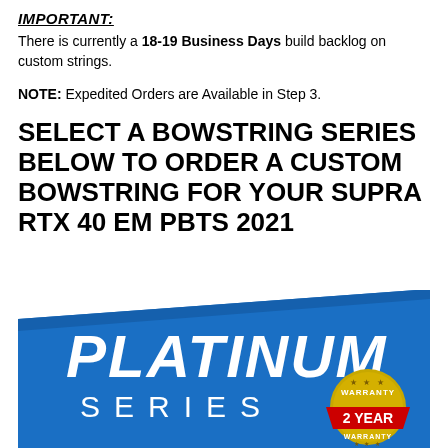IMPORTANT:
There is currently a 18-19 Business Days build backlog on custom strings.
NOTE: Expedited Orders are Available in Step 3.
SELECT A BOWSTRING SERIES BELOW TO ORDER A CUSTOM BOWSTRING FOR YOUR SUPRA RTX 40 EM PBTS 2021
[Figure (illustration): Blue banner with PLATINUM SERIES text and a gold/red 2 YEAR WARRANTY badge]